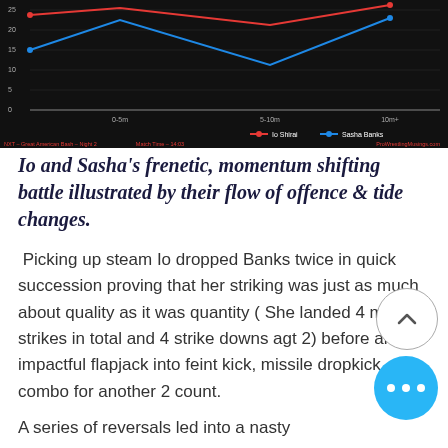[Figure (line-chart): Line chart showing offence value over match time (0-5m, 5-10m, 10m+) for Io Shirai (red) and Sasha Banks (blue) on a dark background. Y-axis goes from 0 to 25.]
Io and Sasha's frenetic, momentum shifting battle illustrated by their flow of offence & tide changes.
Picking up steam Io dropped Banks twice in quick succession proving that her striking was just as much about quality as it was quantity ( She landed 4 more strikes in total and 4 strike downs ag t 2) before an impactful flapjack into feint kick, missile dropkick combo for another 2 count.
A series of reversals led into a nasty